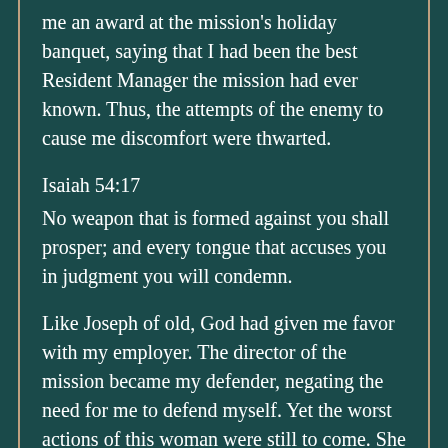me an award at the mission's holiday banquet, saying that I had been the best Resident Manager the mission had ever known. Thus, the attempts of the enemy to cause me discomfort were thwarted.
Isaiah 54:17
No weapon that is formed against you shall prosper; and every tongue that accuses you in judgment you will condemn.
Like Joseph of old, God had given me favor with my employer. The director of the mission became my defender, negating the need for me to defend myself. Yet the worst actions of this woman were still to come. She went to this Mennonite community again, and she openly suggested that the reason my daughter had sided with her father was that there was an unrighteous relationship between us. She went